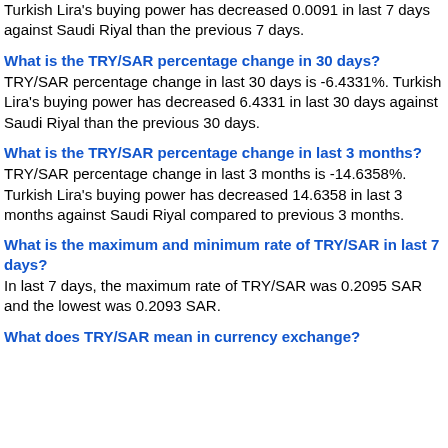Turkish Lira's buying power has decreased 0.0091 in last 7 days against Saudi Riyal than the previous 7 days.
What is the TRY/SAR percentage change in 30 days?
TRY/SAR percentage change in last 30 days is -6.4331%. Turkish Lira's buying power has decreased 6.4331 in last 30 days against Saudi Riyal than the previous 30 days.
What is the TRY/SAR percentage change in last 3 months?
TRY/SAR percentage change in last 3 months is -14.6358%. Turkish Lira's buying power has decreased 14.6358 in last 3 months against Saudi Riyal compared to previous 3 months.
What is the maximum and minimum rate of TRY/SAR in last 7 days?
In last 7 days, the maximum rate of TRY/SAR was 0.2095 SAR and the lowest was 0.2093 SAR.
What does TRY/SAR mean in currency exchange?